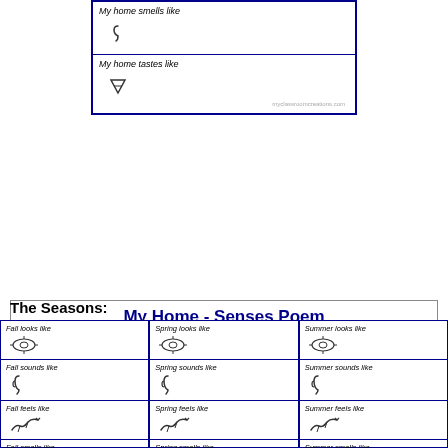[Figure (illustration): Worksheet box showing 'My home smells like' and 'My home tastes like' rows with icons (nose and triangle/tongue) inside a blue-bordered table]
My Home - Senses Poem
Write a poem about how your home affects your senses. The lines of the poem begin with: My home looks like, My home sounds like, My home feels like, My home smells like, and My home tastes like.
The Seasons:
[Figure (illustration): Three-column grid for Fall, Spring, Summer senses worksheets each with rows: looks like (eye icon), sounds like (ear icon), feels like (hand icon), smells like (nose icon)]